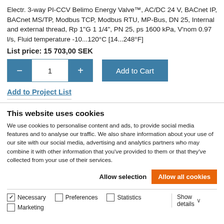Electr. 3-way PI-CCV Belimo Energy Valve™, AC/DC 24 V, BACnet IP, BACnet MS/TP, Modbus TCP, Modbus RTU, MP-Bus, DN 25, Internal and external thread, Rp 1"G 1 1/4", PN 25, ps 1600 kPa, V'nom 0.97 l/s, Fluid temperature -10...120°C [14...248°F]
List price: 15 703,00 SEK
Add to Project List
This website uses cookies
We use cookies to personalise content and ads, to provide social media features and to analyse our traffic. We also share information about your use of our site with our social media, advertising and analytics partners who may combine it with other information that you've provided to them or that they've collected from your use of their services.
Allow selection
Allow all cookies
Necessary  Preferences  Statistics  Marketing  Show details